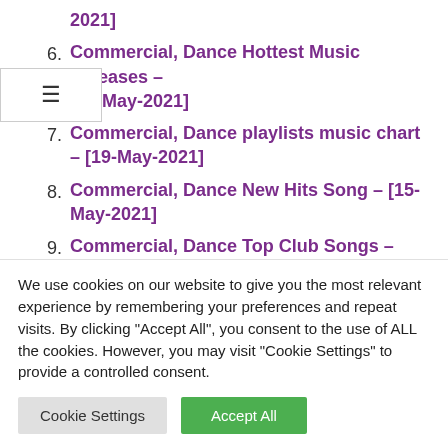2021]
6. Commercial, Dance Hottest Music Releases – [27-May-2021]
7. Commercial, Dance playlists music chart – [19-May-2021]
8. Commercial, Dance New Hits Song – [15-May-2021]
9. Commercial, Dance Top Club Songs – [11-May-2021]
10. Download New mp3 Commercial, Dance – [26-
We use cookies on our website to give you the most relevant experience by remembering your preferences and repeat visits. By clicking "Accept All", you consent to the use of ALL the cookies. However, you may visit "Cookie Settings" to provide a controlled consent.